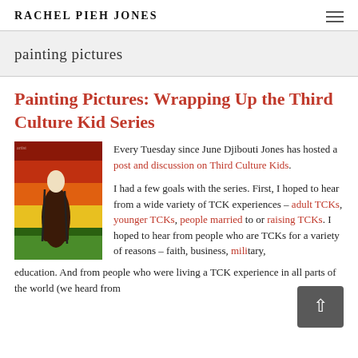RACHEL PIEH JONES
painting pictures
Painting Pictures: Wrapping Up the Third Culture Kid Series
[Figure (illustration): A painting showing a dark silhouette figure in reddish-brown robes against a colorful background of red, orange, yellow, and green horizontal stripes.]
Every Tuesday since June Djibouti Jones has hosted a post and discussion on Third Culture Kids.
I had a few goals with the series. First, I hoped to hear from a wide variety of TCK experiences – adult TCKs, younger TCKs, people married to or raising TCKs. I hoped to hear from people who are TCKs for a variety of reasons – faith, business, military, education. And from people who were living a TCK experience in all parts of the world (we heard from